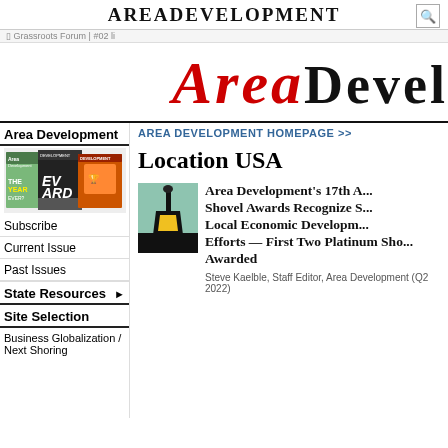AREA DEVELOPMENT
[breadcrumb navigation]
[Figure (logo): Area Development large logo with red italic 'AREA' and bold black 'DEVEL...' text]
Area Development
[Figure (photo): Magazine covers collage]
Subscribe
Current Issue
Past Issues
State Resources
Site Selection
Business Globalization / Next Shoring
AREA DEVELOPMENT HOMEPAGE >>
Location USA
[Figure (illustration): Shovel award icon - black and yellow shovel on teal/green background]
Area Development's 17th A... Shovel Awards Recognize S... Local Economic Developm... Efforts — First Two Platinum Sho... Awarded
Steve Kaelble, Staff Editor, Area Development (Q2 2022)